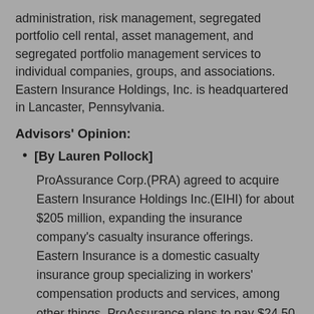administration, risk management, segregated portfolio cell rental, asset management, and segregated portfolio management services to individual companies, groups, and associations. Eastern Insurance Holdings, Inc. is headquartered in Lancaster, Pennsylvania.
Advisors' Opinion:
[By Lauren Pollock]
ProAssurance Corp.(PRA) agreed to acquire Eastern Insurance Holdings Inc.(EIHI) for about $205 million, expanding the insurance company's casualty insurance offerings. Eastern Insurance is a domestic casualty insurance group specializing in workers' compensation products and services, among other things. ProAssurance plans to pay $24.50 in cash for each outstanding Eastern share, a 16% premium over Monday's closing price.
5 Best Growth Stocks To Buy For 2014: Delphi